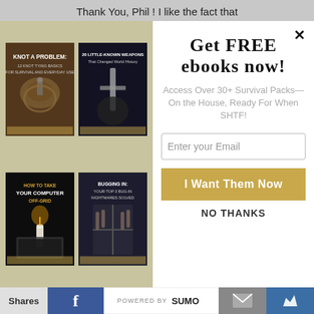Thank You, Phil ! I like the fact that
[Figure (screenshot): Modal popup with 4 ebook covers on the left (Knot a Problem, 20 Little-Known Weapons, How to Take Your Computer Off-Grid, Bugging In) and signup form on the right with title 'Get FREE ebooks now!', subtitle 'Access Over 30+ Survival Packs—On the House, Ready For When SHTF!', email input, golden CTA button 'I Want Them Now', and 'NO THANKS' link]
Shares | [Facebook] | POWERED BY SUMO | [Mail] | [Crown]